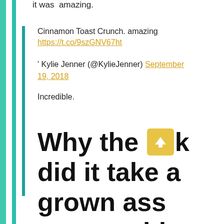it was  amazing.
Cinnamon Toast Crunch. amazing
https://t.co/9szGNV67ht
' Kylie Jenner (@KylieJenner) September 19, 2018
Incredible.
Why the [upvote] did it take a grown ass woman this long to eat fucking cereal?